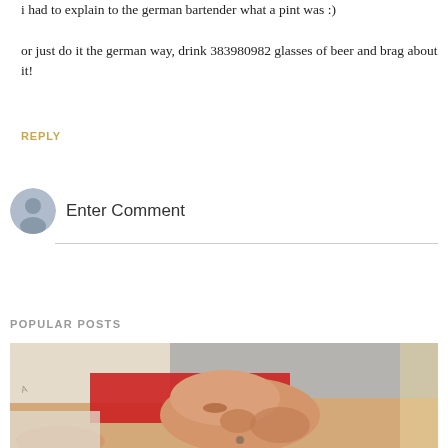i had to explain to the german bartender what a pint was :)

or just do it the german way, drink 383980982 glasses of beer and brag about it!
REPLY
Enter Comment
POPULAR POSTS
[Figure (photo): Close-up photo of a newborn baby's face, wearing a red outfit, eyes closed, resting on white cloth/blankets.]